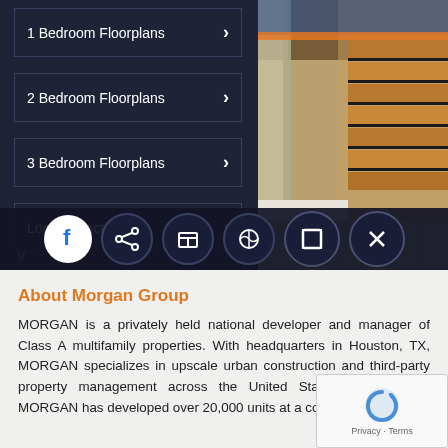[Figure (screenshot): Screenshot of a real estate website showing a navigation menu with floorplan options on the left side against dark background, and a photo of a kitchen/interior on the right side, with a toolbar of social/action icons at the bottom.]
1 Bedroom Floorplans >
2 Bedroom Floorplans >
3 Bedroom Floorplans >
Local Attractions >
About Morgan Group
MORGAN is a privately held national developer and manager of Class A multifamily properties. With headquarters in Houston, TX, MORGAN specializes in upscale urban construction and third-party property management across the United States. Since 1988, MORGAN has developed over 20,000 units at a cost